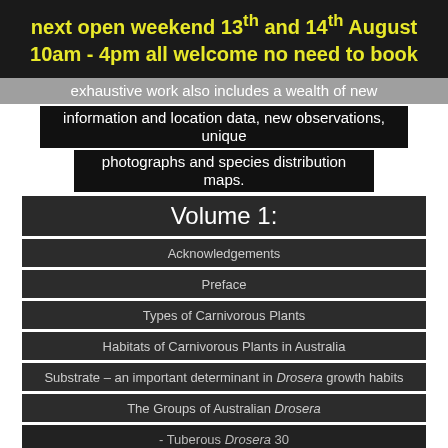next open weekend 13th and 14th August 10am - 4pm all welcome no need to book
exhaustive work also includes a wealth of new
information and location data, new observations, unique photographs and species distribution maps.
Volume 1:
Acknowledgements
Preface
Types of Carnivorous Plants
Habitats of Carnivorous Plants in Australia
Substrate – an important determinant in Drosera growth habits
The Groups of Australian Drosera
- Tuberous Drosera 30
- Pygmy Drosera 44
- Natural Pygmy Drosera Hybrids 52
- Man-made Pygmy Drosera Hybrids 56
- Perennial Tropical Drosera 60